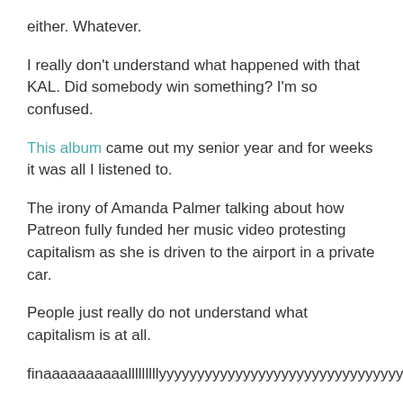either. Whatever.
I really don't understand what happened with that KAL. Did somebody win something? I'm so confused.
This album came out my senior year and for weeks it was all I listened to.
The irony of Amanda Palmer talking about how Patreon fully funded her music video protesting capitalism as she is driven to the airport in a private car.
People just really do not understand what capitalism is at all.
finaaaaaaaaaalllllllllyyyyyyyyyyyyyyyyyyyyyyyyyyyyyyyyyyyyyyy
Hey kid. It's a repository agreement, not a respiratory agreement.